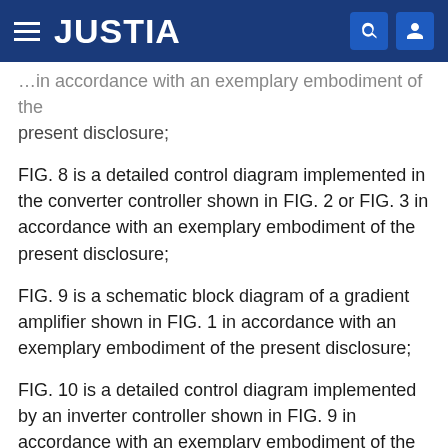JUSTIA
…in accordance with an exemplary embodiment of the present disclosure;
FIG. 8 is a detailed control diagram implemented in the converter controller shown in FIG. 2 or FIG. 3 in accordance with an exemplary embodiment of the present disclosure;
FIG. 9 is a schematic block diagram of a gradient amplifier shown in FIG. 1 in accordance with an exemplary embodiment of the present disclosure;
FIG. 10 is a detailed control diagram implemented by an inverter controller shown in FIG. 9 in accordance with an exemplary embodiment of the present disclosure; and
FIG. 11 is a schematic block diagram of an exemplary magnetic resonance system in accordance with an exemplary embodiment of the present disclosure